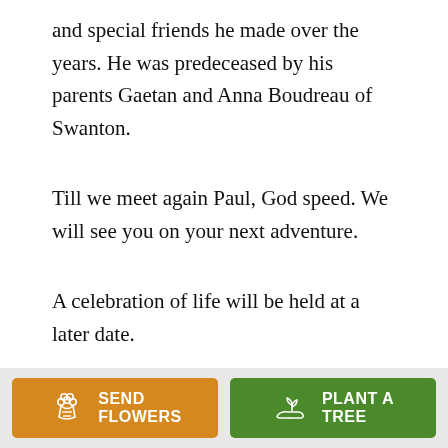and special friends he made over the years. He was predeceased by his parents Gaetan and Anna Boudreau of Swanton.
Till we meet again Paul, God speed. We will see you on your next adventure.
A celebration of life will be held at a later date.
[Figure (other): Two call-to-action buttons: orange 'Send Flowers' button with flower bouquet icon, and green 'Plant a Tree' button with seedling/hand icon.]